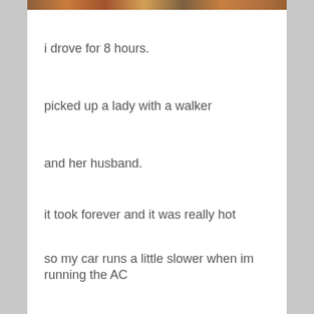[Figure (photo): Partial photo strip visible at the top of the page, showing a colorful outdoor scene.]
i drove for 8 hours.
picked up a lady with a walker
and her husband.
it took forever and it was really hot
so my car runs a little slower when im running the AC
but got them to East LA
to see a doctor
hope alls well